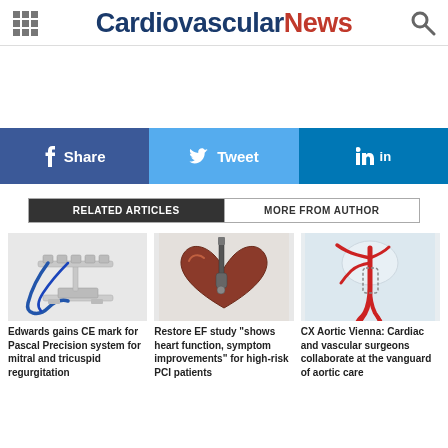Cardiovascular News
[Figure (infographic): Social sharing bar with Facebook Share, Twitter Tweet, and LinkedIn buttons]
RELATED ARTICLES | MORE FROM AUTHOR
[Figure (photo): Medical device - Pascal Precision system with tubing]
Edwards gains CE mark for Pascal Precision system for mitral and tricuspid regurgitation
[Figure (photo): Heart with cardiac device illustration]
Restore EF study "shows heart function, symptom improvements" for high-risk PCI patients
[Figure (illustration): Aortic anatomy illustration with red vessels]
CX Aortic Vienna: Cardiac and vascular surgeons collaborate at the vanguard of aortic care